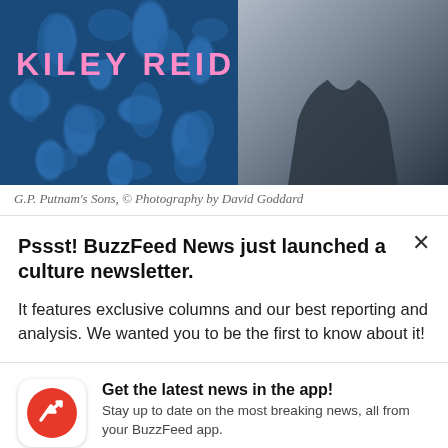[Figure (photo): Two images side by side: left shows a book cover with blue patterned background and pink text reading 'KILEY REID'; right shows a person wearing a dark jacket against a neutral background.]
G.P. Putnam's Sons, © Photography by David Goddard
Pssst! BuzzFeed News just launched a culture newsletter.
It features exclusive columns and our best reporting and analysis. We wanted you to be the first to know about it!
[Figure (logo): BuzzFeed app icon: red circle with white trending arrow logo]
Get the latest news in the app! Stay up to date on the most breaking news, all from your BuzzFeed app.
Maybe later
Get the app